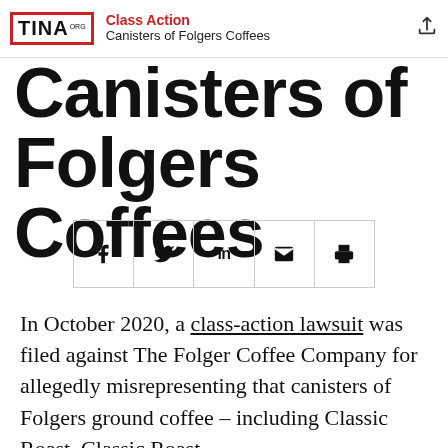Class Action | Canisters of Folgers Coffees
Canisters of Folgers Coffees
[Figure (other): Social sharing buttons bar with icons for Facebook, Twitter, LinkedIn, Email, and Print]
In October 2020, a class-action lawsuit was filed against The Folger Coffee Company for allegedly misrepresenting that canisters of Folgers ground coffee – including Classic Roast, Classic Roast